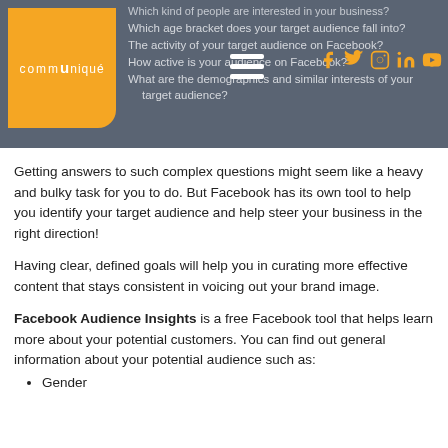Communiqué navigation header with logo and social icons
Which kind of people are interested in your business?
Which age bracket does your target audience fall into?
The activity of your target audience on Facebook?
How active is your audience on Facebook?
What are the demographics and similar interests of your target audience?
Getting answers to such complex questions might seem like a heavy and bulky task for you to do. But Facebook has its own tool to help you identify your target audience and help steer your business in the right direction!
Having clear, defined goals will help you in curating more effective content that stays consistent in voicing out your brand image.
Facebook Audience Insights is a free Facebook tool that helps learn more about your potential customers. You can find out general information about your potential audience such as:
Gender